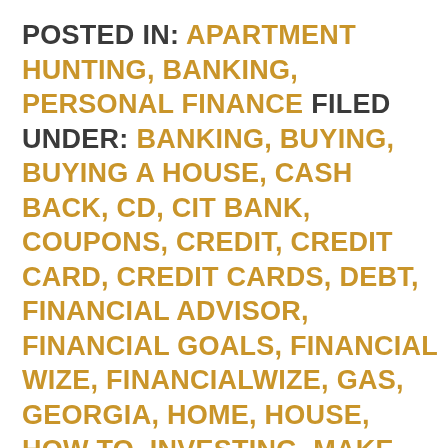POSTED IN: APARTMENT HUNTING, BANKING, PERSONAL FINANCE FILED UNDER: BANKING, BUYING, BUYING A HOUSE, CASH BACK, CD, CIT BANK, COUPONS, CREDIT, CREDIT CARD, CREDIT CARDS, DEBT, FINANCIAL ADVISOR, FINANCIAL GOALS, FINANCIAL WIZE, FINANCIALWIZE, GAS, GEORGIA, HOME, HOUSE, HOW TO, INVESTING, MAKE, MARKET, MONEY, MONEY MARKET, MONEY MARKET ACCOUNT, PERSONAL FINANCE, PLANNING, POPULAR, REFER A FRIEND, REFERRAL BONUS, RETIREMENT, REWARDS, SAVING, SAVINGS, SAVINGS ACCOUNT, SHOPPING, TRAVEL, UNCATEGORIZED, WILL